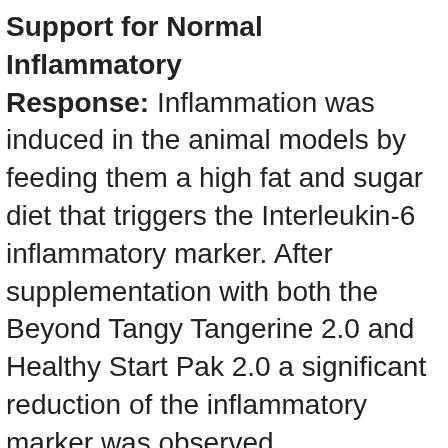Support for Normal Inflammatory Response:
Inflammation was induced in the animal models by feeding them a high fat and sugar diet that triggers the Interleukin-6 inflammatory marker. After supplementation with both the Beyond Tangy Tangerine 2.0 and Healthy Start Pak 2.0 a significant reduction of the inflammatory marker was observed demonstrating support for normal inflammatory responses when placed under stressful conditions.
“It’s very important that studies such as these are done in a unbiased, highly respected,